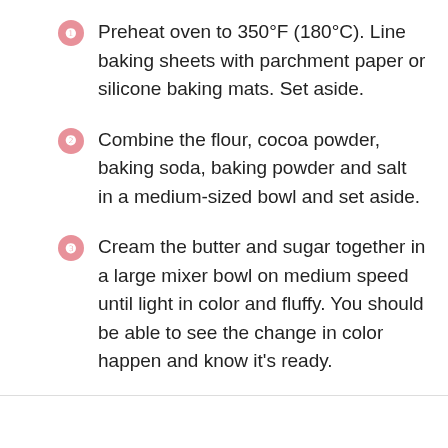Preheat oven to 350°F (180°C). Line baking sheets with parchment paper or silicone baking mats. Set aside.
Combine the flour, cocoa powder, baking soda, baking powder and salt in a medium-sized bowl and set aside.
Cream the butter and sugar together in a large mixer bowl on medium speed until light in color and fluffy. You should be able to see the change in color happen and know it's ready.